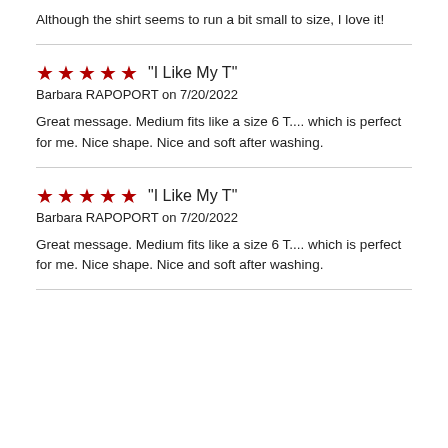Although the shirt seems to run a bit small to size, I love it!
★★★★★  "I Like My T"
Barbara RAPOPORT on 7/20/2022

Great message. Medium fits like a size 6 T.... which is perfect for me. Nice shape. Nice and soft after washing.
★★★★★  "I Like My T"
Barbara RAPOPORT on 7/20/2022

Great message. Medium fits like a size 6 T.... which is perfect for me. Nice shape. Nice and soft after washing.